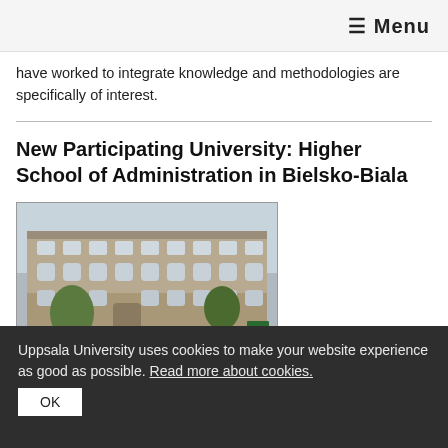≡ Menu
have worked to integrate knowledge and methodologies are specifically of interest.
New Participating University: Higher School of Administration in Bielsko-Biala
[Figure (photo): Photograph of the Higher School of Administration building in Bielsko-Biala — a large historic multi-storey stone building with arched windows, trees in front, and cars parked outside.]
Uppsala University uses cookies to make your website experience as good as possible. Read more about cookies.